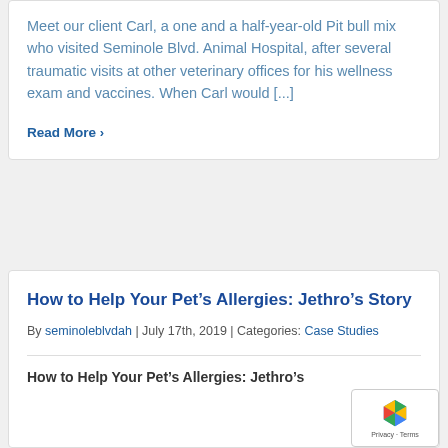Meet our client Carl, a one and a half-year-old Pit bull mix who visited Seminole Blvd. Animal Hospital, after several traumatic visits at other veterinary offices for his wellness exam and vaccines. When Carl would [...]
Read More ›
How to Help Your Pet's Allergies: Jethro's Story
By seminoleblvdah | July 17th, 2019 | Categories: Case Studies
How to Help Your Pet's Allergies: Jethro's